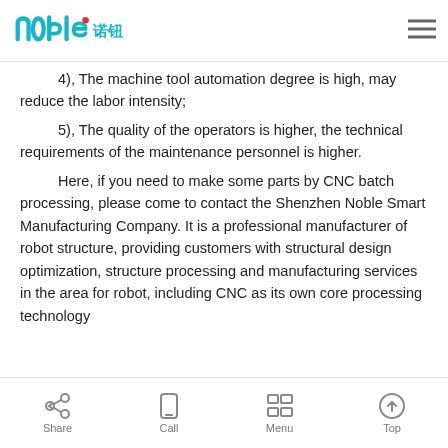noble 诺钮
4), The machine tool automation degree is high, may reduce the labor intensity;
5), The quality of the operators is higher, the technical requirements of the maintenance personnel is higher.
Here, if you need to make some parts by CNC batch processing, please come to contact the Shenzhen Noble Smart Manufacturing Company. It is a professional manufacturer of robot structure, providing customers with structural design optimization, structure processing and manufacturing services in the area for robot, including CNC as its own core processing technology
Share  Call  Menu  Top